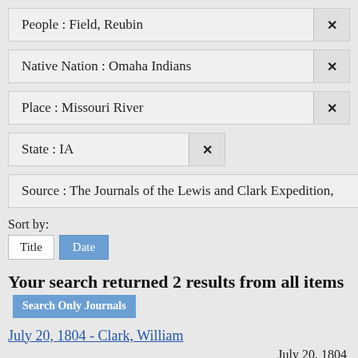People : Field, Reubin ×
Native Nation : Omaha Indians ×
Place : Missouri River ×
State : IA ×
Source : The Journals of the Lewis and Clark Expedition,
Sort by:
Title  Date
Your search returned 2 results from all items  Search Only Journals
July 20, 1804 - Clark, William
July 20, 1804